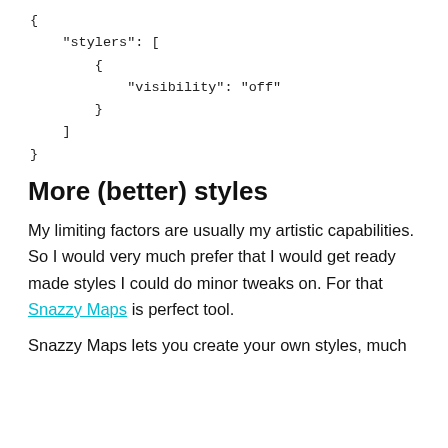{
    "stylers": [
        {
            "visibility": "off"
        }
    ]
}
More (better) styles
My limiting factors are usually my artistic capabilities. So I would very much prefer that I would get ready made styles I could do minor tweaks on. For that Snazzy Maps is perfect tool.
Snazzy Maps lets you create your own styles, much